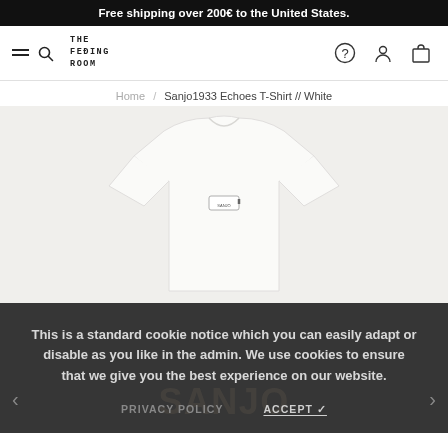Free shipping over 200€ to the United States.
[Figure (logo): The Feeting Room logo with hamburger menu and search icon on the left, and help, account, and cart icons on the right]
Home / Sanjo1933 Echoes T-Shirt // White
[Figure (photo): White Sanjo1933 Echoes T-Shirt on a light grey background, showing the collar and small branded label]
This is a standard cookie notice which you can easily adapt or disable as you like in the admin. We use cookies to ensure that we give you the best experience on our website.
PRIVACY POLICY   ACCEPT ✓